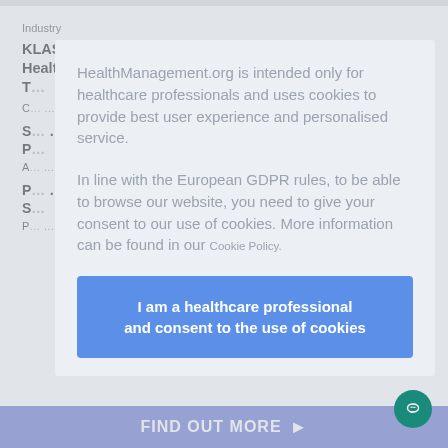Industry
KLAS Research 2022 Europe PACS Report: Agfa HealthCare Among T…
C… …d more
S… …und P…
A… …ore
P… …art S…
P… …more
HealthManagement.org is intended only for healthcare professionals and uses cookies to provide best user experience and personalised service.

In line with the European GDPR rules, to be able to browse our website, you need to give your consent to our use of cookies. More information can be found in our Cookie Policy.
I am a healthcare professional and consent to the use of cookies